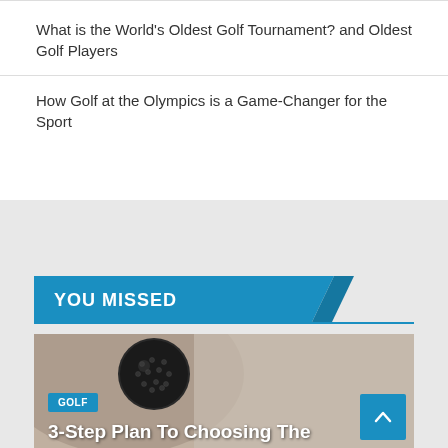What is the World's Oldest Golf Tournament? and Oldest Golf Players
How Golf at the Olympics is a Game-Changer for the Sport
YOU MISSED
[Figure (photo): Close-up photo of a golf ball on a tee against a blurred background, with a 'GOLF' category tag and partial article title overlay reading '3-Step Plan To Choosing The']